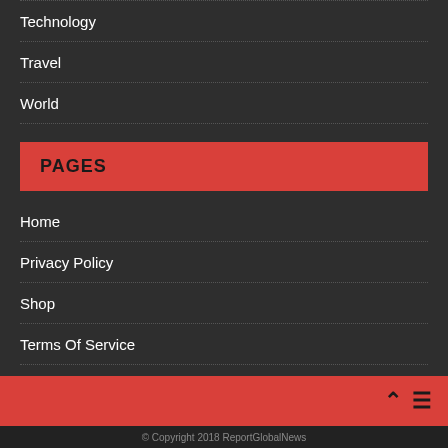Technology
Travel
World
PAGES
Home
Privacy Policy
Shop
Terms Of Service
SEARCH ...
© Copyright 2018 ReportGlobalNews